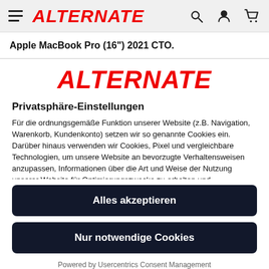ALTERNATE (navigation bar with hamburger menu, search, account, cart icons)
Apple MacBook Pro (16") 2021 CTO.
[Figure (logo): ALTERNATE logo in red italic bold text]
Privatsphäre-Einstellungen
Für die ordnungsgemäße Funktion unserer Website (z.B. Navigation, Warenkorb, Kundenkonto) setzen wir so genannte Cookies ein. Darüber hinaus verwenden wir Cookies, Pixel und vergleichbare Technologien, um unsere Website an bevorzugte Verhaltensweisen anzupassen, Informationen über die Art und Weise der Nutzung unserer Website für Optimierungszwecke zu erhalten und personalisierte Werbung ausspielen zu können. Zu Werbezwecke können diese Daten auch an Dritte, wie z.B. Suchmaschineanbieter, Social
Alles akzeptieren
Nur notwendige Cookies
Powered by Usercentrics Consent Management